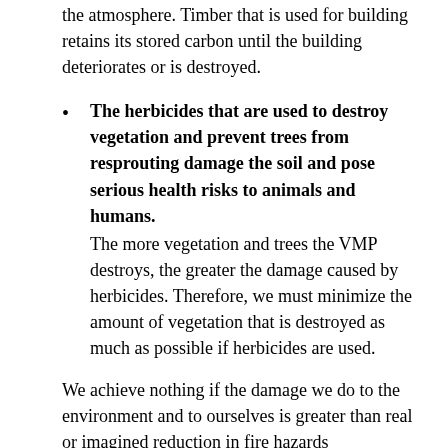the atmosphere. Timber that is used for building retains its stored carbon until the building deteriorates or is destroyed.
The herbicides that are used to destroy vegetation and prevent trees from resprouting damage the soil and pose serious health risks to animals and humans. The more vegetation and trees the VMP destroys, the greater the damage caused by herbicides.  Therefore, we must minimize the amount of vegetation that is destroyed as much as possible if herbicides are used.
We achieve nothing if the damage we do to the environment and to ourselves is greater than real or imagined reduction in fire hazards